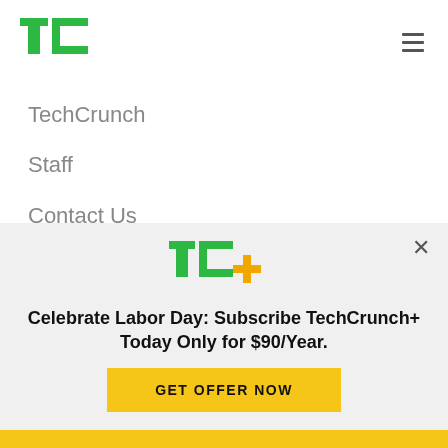[Figure (logo): TechCrunch TC logo in green]
TechCrunch
Staff
Contact Us
Advertise
Crunchboard Jobs
[Figure (logo): TC+ logo in green with yellow plus sign]
Celebrate Labor Day: Subscribe TechCrunch+ Today Only for $90/Year.
GET OFFER NOW